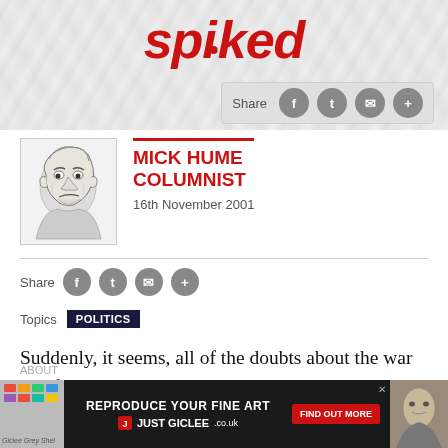spiked
[Figure (illustration): Caricature portrait sketch of Mick Hume, showing a man with exaggerated features in pencil/ink style]
MICK HUME
COLUMNIST
16th November 2001
Share
Topics  POLITICS
Suddenly, it seems, all of the doubts about the war in Afghanistan are supposed to have disappeared. Since the Taliban fled...
[Figure (infographic): Advertisement banner: REPRODUCE YOUR FINE ART - JUST GICLEE.co.uk - FIND OUT MORE]